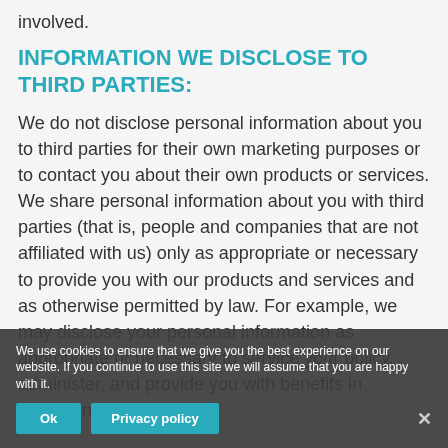involved.
INFORMATION WE DISCLOSE TO THIRD PARTIES:
We do not disclose personal information about you to third parties for their own marketing purposes or to contact you about their own products or services. We share personal information about you with third parties (that is, people and companies that are not affiliated with us) only as appropriate or necessary to provide you with our products and services and as otherwise permitted by law. For example, we may disclose your personal information as appropriate or necessary to service your policy, administer, and provide you with benefits in accordance with
We use cookies to ensure that we give you the best experience on our website. If you continue to use this site we will assume that you are happy with it.